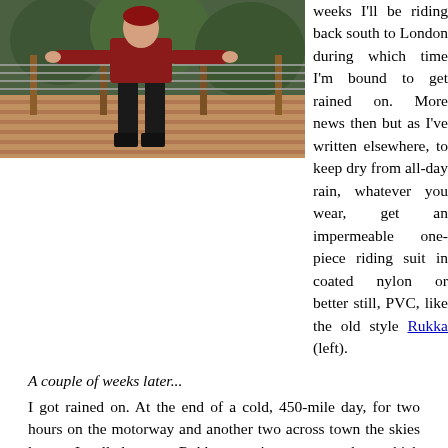[Figure (photo): Person in red jacket and black waterproof pants jumping/posing on a wooden deck with trees and a railing in the background.]
weeks I'll be riding back south to London during which time I'm bound to get rained on. More news then but as I've written elsewhere, to keep dry from all-day rain, whatever you wear, get an impermeable one-piece riding suit in coated nylon or better still, PVC, like the old style Rukka (left).
A couple of weeks later...
I got rained on. At the end of a cold, 450-mile day, for two hours on the motorway and another two across town the skies let go. I pulled on my Rukka one-piece over my legs which stayed as dry as, same as my boots which I waxed months ago. But within an hour I could feel wet arms, as in Spain months earlier.